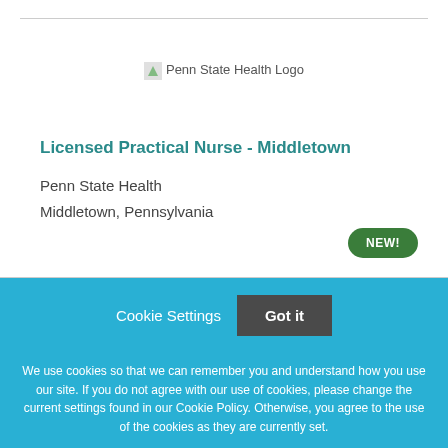[Figure (logo): Penn State Health Logo - image placeholder with text]
Licensed Practical Nurse - Middletown
Penn State Health
Middletown, Pennsylvania
NEW!
Cookie Settings
Got it
We use cookies so that we can remember you and understand how you use our site. If you do not agree with our use of cookies, please change the current settings found in our Cookie Policy. Otherwise, you agree to the use of the cookies as they are currently set.